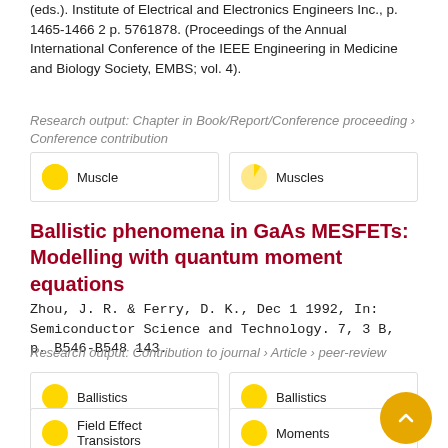(eds.). Institute of Electrical and Electronics Engineers Inc., p. 1465-1466 2 p. 5761878. (Proceedings of the Annual International Conference of the IEEE Engineering in Medicine and Biology Society, EMBS; vol. 4).
Research output: Chapter in Book/Report/Conference proceeding › Conference contribution
Muscle | Muscles (keyword badges)
Ballistic phenomena in GaAs MESFETs: Modelling with quantum moment equations
Zhou, J. R. & Ferry, D. K., Dec 1 1992, In: Semiconductor Science and Technology. 7, 3 B, p. B546-B548 143.
Research output: Contribution to journal › Article › peer-review
Ballistics | Ballistics (keyword badges)
Field Effect Transistors | Moments (keyword badges)